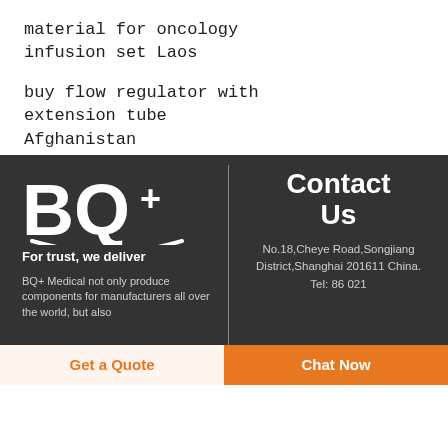material for oncology infusion set Laos
buy flow regulator with extension tube Afghanistan
[Figure (logo): BQ+ medical logo with text 'For trust, we deliver']
BQ+ Medical not only produce components for manufacturers all over the world, but also
Contact Us
No.18,Cheye Road,Songjiang District,Shanghai 201611 China.
Tel: 86 021
Get a Quote  |  Chat Now